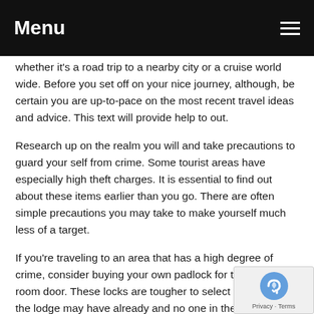Menu
whether it's a road trip to a nearby city or a cruise world wide. Before you set off on your nice journey, although, be certain you are up-to-pace on the most recent travel ideas and advice. This text will provide help to out.
Research up on the realm you will and take precautions to guard your self from crime. Some tourist areas have especially high theft charges. It is essential to find out about these items earlier than you go. There are often simple precautions you may take to make yourself much less of a target.
If you're traveling to an area that has a high degree of crime, consider buying your own padlock for the lodge room door. These locks are tougher to select than those the lodge may have already and no one in the lodge may have a spare to let in "visitors".
Staying calm and collected on board your airplane can make it